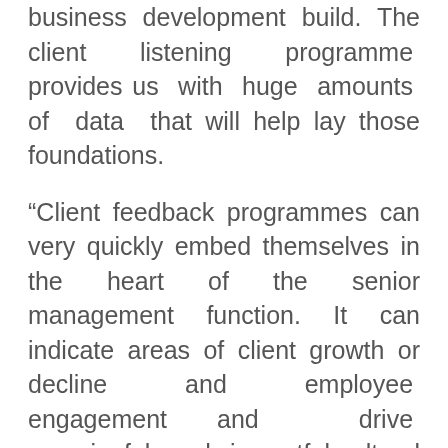business development build. The client listening programme provides us with huge amounts of data that will help lay those foundations.
“Client feedback programmes can very quickly embed themselves in the heart of the senior management function. It can indicate areas of client growth or decline and employee engagement and drive meaningful and impactful cultural change.”